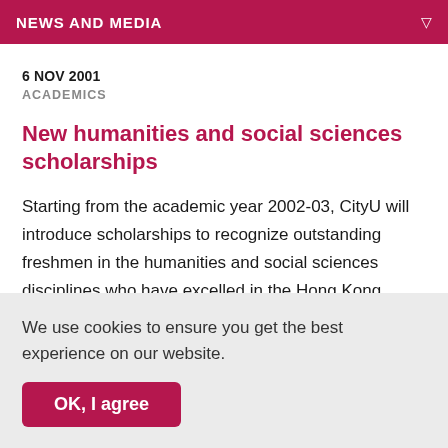NEWS AND MEDIA
6 NOV 2001
ACADEMICS
New humanities and social sciences scholarships
Starting from the academic year 2002-03, CityU will introduce scholarships to recognize outstanding freshmen in the humanities and social sciences disciplines who have excelled in the Hong Kong Advanced Level Examination.
We use cookies to ensure you get the best experience on our website.
OK, I agree